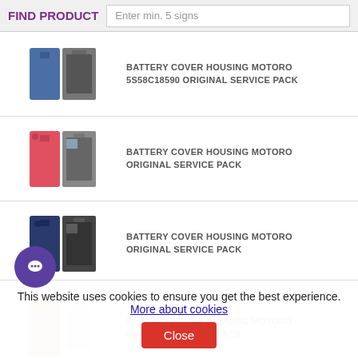FIND PRODUCT — Enter min. 5 signs
BATTERY COVER HOUSING MOTOROLA 5S58C18590 ORIGINAL SERVICE PACK
BATTERY COVER HOUSING MOTOROLA ORIGINAL SERVICE PACK
BATTERY COVER HOUSING MOTOROLA ORIGINAL SERVICE PACK
BATTERY COVER HOUSING MOTOROLA ORIGINAL SERVICE PACK
BATTERY COVER HOUSING MOTOROLA ORIGINAL SERVICE PACK
This website uses cookies to ensure you get the best experience. More about cookies
Close